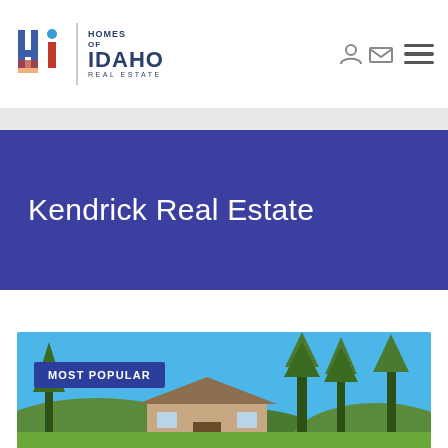[Figure (logo): Homes of Idaho Real Estate logo with stylized 'hi' letters and vertical divider]
Kendrick Real Estate
[Figure (photo): Exterior photo of a house surrounded by tall pine trees under a bright blue sky, with green hills in the background]
MOST POPULAR